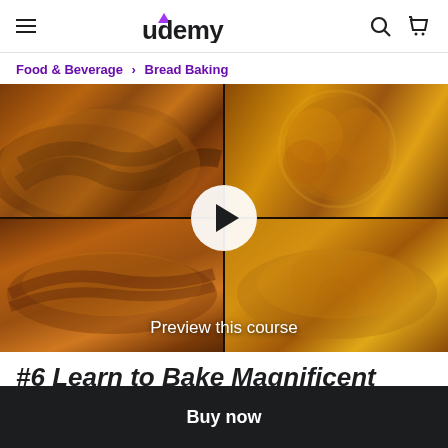Udemy
Food & Beverage > Bread Baking
[Figure (screenshot): Video thumbnail showing four bread baking images in a 2x2 grid: top-left shows a sliced chocolate swirl bread, top-right shows a round challah-style braided bread, bottom-left shows an elongated braided loaf, bottom-right shows a round seeded loaf. A play button is overlaid in the center. Text at bottom reads 'Preview this course'.]
#6 Learn to Bake Magnificent
Buy now